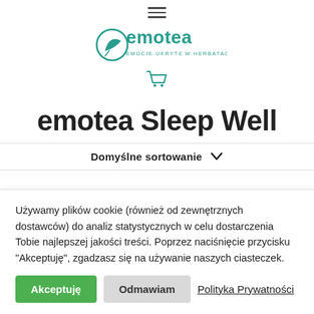[Figure (logo): Emotea brand logo with tagline 'EMOCIE UKRYTE W HERBATACH' and hamburger menu icon and shopping cart icon]
emotea Sleep Well
Domyślne sortowanie
Używamy plików cookie (również od zewnętrznych dostawców) do analiz statystycznych w celu dostarczenia Tobie najlepszej jakości treści. Poprzez naciśnięcie przycisku "Akceptuję", zgadzasz się na używanie naszych ciasteczek.
Akceptuję
Odmawiam
Polityka Prywatności